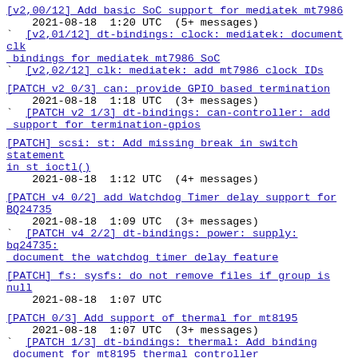[v2,00/12] Add basic SoC support for mediatek mt7986
  2021-08-18  1:20 UTC  (5+ messages)
  ` [v2,01/12] dt-bindings: clock: mediatek: document clk bindings for mediatek mt7986 SoC
  ` [v2,02/12] clk: mediatek: add mt7986 clock IDs
[PATCH v2 0/3] can: provide GPIO based termination
  2021-08-18  1:18 UTC  (3+ messages)
  ` [PATCH v2 1/3] dt-bindings: can-controller: add support for termination-gpios
[PATCH] scsi: st: Add missing break in switch statement in st ioctl()
  2021-08-18  1:12 UTC  (4+ messages)
[PATCH v4 0/2] add Watchdog Timer delay support for BQ24735
  2021-08-18  1:09 UTC  (3+ messages)
  ` [PATCH v4 2/2] dt-bindings: power: supply: bq24735: document the watchdog timer delay feature
[PATCH] fs: sysfs: do not remove files if group is null
  2021-08-18  1:07 UTC
[PATCH 0/3] Add support of thermal for mt8195
  2021-08-18  1:07 UTC  (3+ messages)
  ` [PATCH 1/3] dt-bindings: thermal: Add binding document for mt8195 thermal controller
[PATCH] net/mlx4: Use ARRAY SIZE to get an array's size